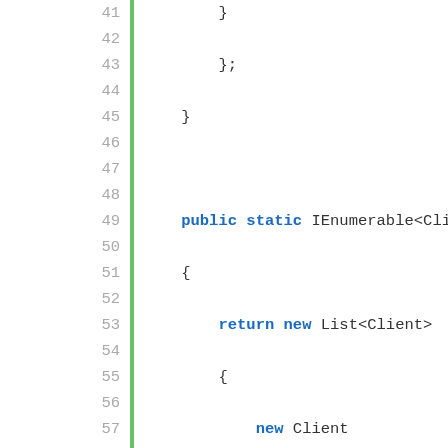[Figure (screenshot): Code editor screenshot showing C# code lines 41-66 with green vertical bar on left, gray line numbers, and syntax-highlighted code. Keywords 'public', 'static', 'return', 'new', 'false' in bold blue; string literals in blue.]